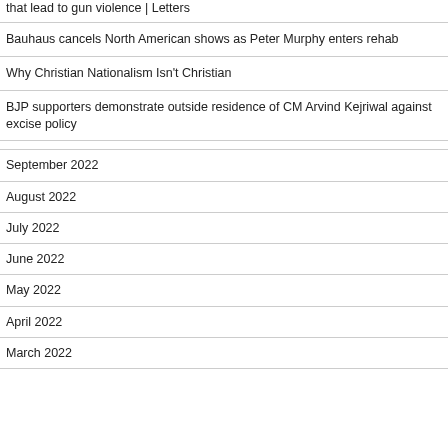that lead to gun violence | Letters
Bauhaus cancels North American shows as Peter Murphy enters rehab
Why Christian Nationalism Isn't Christian
BJP supporters demonstrate outside residence of CM Arvind Kejriwal against excise policy
September 2022
August 2022
July 2022
June 2022
May 2022
April 2022
March 2022